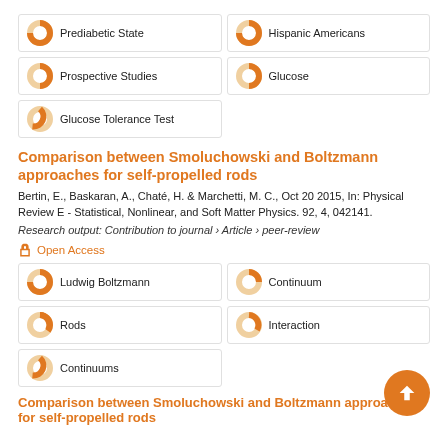Prediabetic State
Hispanic Americans
Prospective Studies
Glucose
Glucose Tolerance Test
Comparison between Smoluchowski and Boltzmann approaches for self-propelled rods
Bertin, E., Baskaran, A., Chaté, H. & Marchetti, M. C., Oct 20 2015, In: Physical Review E - Statistical, Nonlinear, and Soft Matter Physics. 92, 4, 042141.
Research output: Contribution to journal › Article › peer-review
Open Access
Ludwig Boltzmann
Continuum
Rods
Interaction
Continuums
Comparison between Smoluchowski and Boltzmann approaches for self-propelled rods